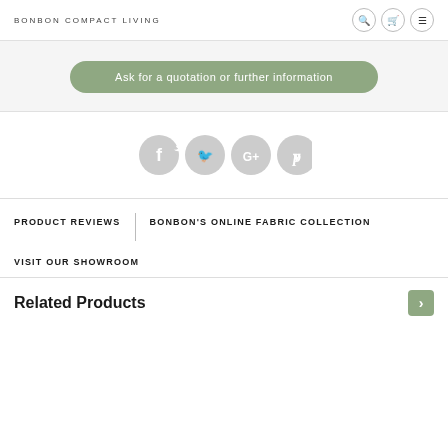BONBON COMPACT LIVING
Ask for a quotation or further information
[Figure (infographic): Four social media icon circles: Facebook (f), Twitter (bird), Google+ (G+), Pinterest (P) — all in light grey]
PRODUCT REVIEWS
BONBON'S ONLINE FABRIC COLLECTION
VISIT OUR SHOWROOM
Related Products